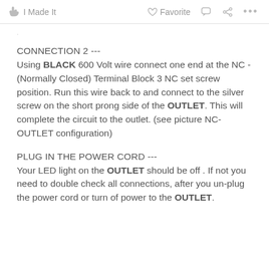I Made It   Favorite   ...
CONNECTION 2 ---
Using BLACK 600 Volt wire connect one end at the NC - (Normally Closed) Terminal Block 3 NC set screw position.  Run this wire back to and connect to the silver screw on the short prong side of the OUTLET.  This will complete the circuit to the outlet. (see picture NC-OUTLET configuration)
PLUG IN THE POWER CORD ---
Your LED light on the OUTLET should be off .  If not you need to double check all connections, after you un-plug the power cord or turn of power to the OUTLET.